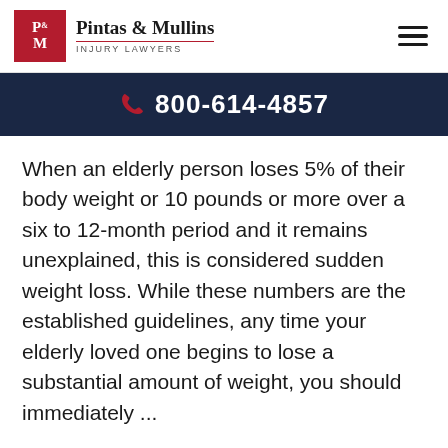Pintas & Mullins INJURY LAWYERS
800-614-4857
When an elderly person loses 5% of their body weight or 10 pounds or more over a six to 12-month period and it remains unexplained, this is considered sudden weight loss. While these numbers are the established guidelines, any time your elderly loved one begins to lose a substantial amount of weight, you should immediately ...